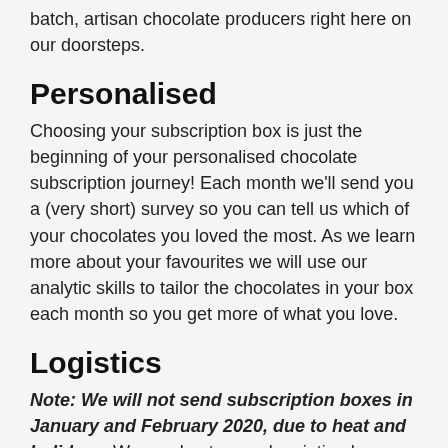batch, artisan chocolate producers right here on our doorsteps.
Personalised
Choosing your subscription box is just the beginning of your personalised chocolate subscription journey! Each month we'll send you a (very short) survey so you can tell us which of your chocolates you loved the most. As we learn more about your favourites we will use our analytic skills to tailor the chocolates in your box each month so you get more of what you love.
Logistics
Note: We will not send subscription boxes in January and February 2020, due to heat and holidays. We send out our subscription boxes on the first Monday of each month. The $10 postage & handling fee covers Express Post delivery, to ensure your chocolates arrive quickly and in great condition. During hotter months we include insulation and